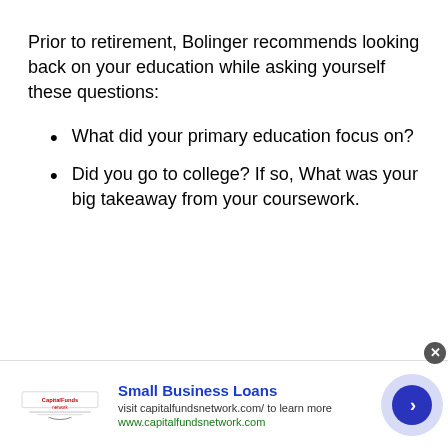Prior to retirement, Bolinger recommends looking back on your education while asking yourself these questions:
What did your primary education focus on?
Did you go to college? If so, What was your big takeaway from your coursework.
[Figure (other): Advertisement banner for Small Business Loans by capitalfundsnetwork.com with logo, text, and a blue arrow button on a light purple circular background.]